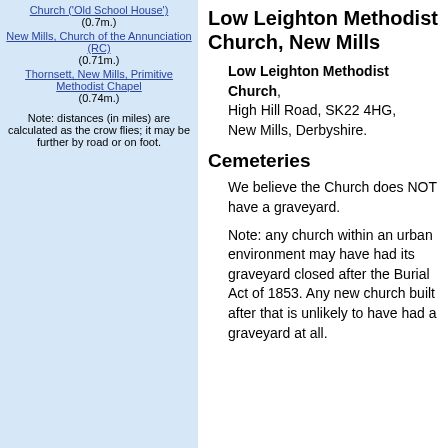Church ('Old School House') (0.7m.)
New Mills, Church of the Annunciation (RC) (0.71m.)
Thornsett, New Mills, Primitive Methodist Chapel (0.74m.)
Note: distances (in miles) are calculated as the crow flies; it may be further by road or on foot.
Low Leighton Methodist Church, New Mills
Low Leighton Methodist Church, High Hill Road, SK22 4HG, New Mills, Derbyshire.
Cemeteries
We believe the Church does NOT have a graveyard.
Note: any church within an urban environment may have had its graveyard closed after the Burial Act of 1853. Any new church built after that is unlikely to have had a graveyard at all.